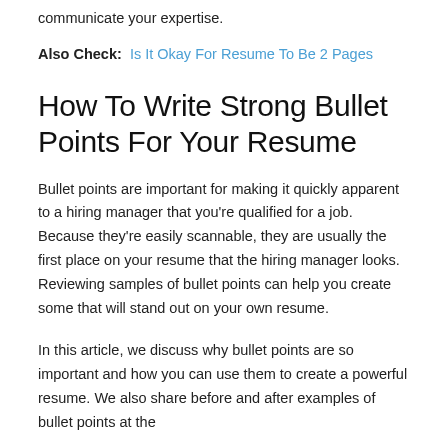communicate your expertise.
Also Check:  Is It Okay For Resume To Be 2 Pages
How To Write Strong Bullet Points For Your Resume
Bullet points are important for making it quickly apparent to a hiring manager that you’re qualified for a job. Because they’re easily scannable, they are usually the first place on your resume that the hiring manager looks. Reviewing samples of bullet points can help you create some that will stand out on your own resume.
In this article, we discuss why bullet points are so important and how you can use them to create a powerful resume. We also share before and after examples of bullet points at the